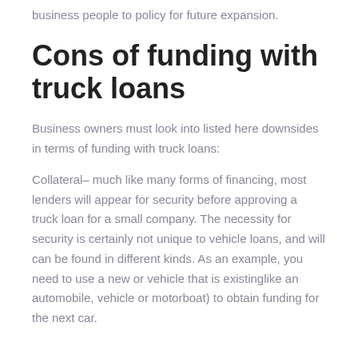business people to policy for future expansion.
Cons of funding with truck loans
Business owners must look into listed here downsides in terms of funding with truck loans:
Collateral– much like many forms of financing, most lenders will appear for security before approving a truck loan for a small company. The necessity for security is certainly not unique to vehicle loans, and will can be found in different kinds. As an example, you need to use a new or vehicle that is existinglike an automobile, vehicle or motorboat) to obtain funding for the next car.